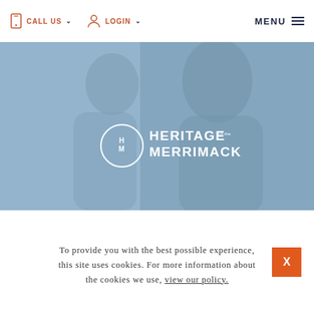CALL US  LOGIN  MENU
[Figure (photo): Hero image showing two women smiling and interacting, with a blue-grey overlay. Heritage on the Merrimack logo (HM circle monogram with text) centered on the image.]
To provide you with the best possible experience, this site uses cookies. For more information about the cookies we use, view our policy.